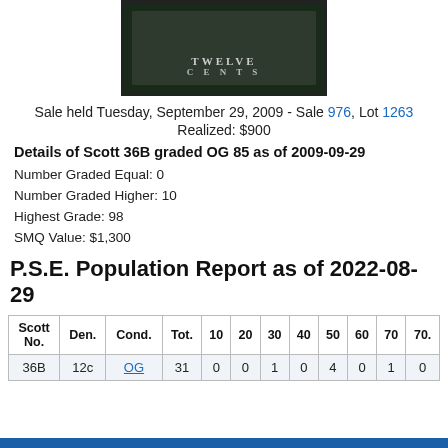[Figure (photo): A vintage 12-cent US postage stamp shown cropped, dark background with perforated edges visible at bottom]
Sale held Tuesday, September 29, 2009 - Sale 976, Lot 1263
Realized: $900
Details of Scott 36B graded OG 85 as of 2009-09-29
Number Graded Equal: 0
Number Graded Higher: 10
Highest Grade: 98
SMQ Value: $1,300
P.S.E. Population Report as of 2022-08-29
| Scott No. | Den. | Cond. | Tot. | 10 | 20 | 30 | 40 | 50 | 60 | 70 | 70. |
| --- | --- | --- | --- | --- | --- | --- | --- | --- | --- | --- | --- |
| 36B | 12c | OG | 31 | 0 | 0 | 1 | 0 | 4 | 0 | 1 | 0 |